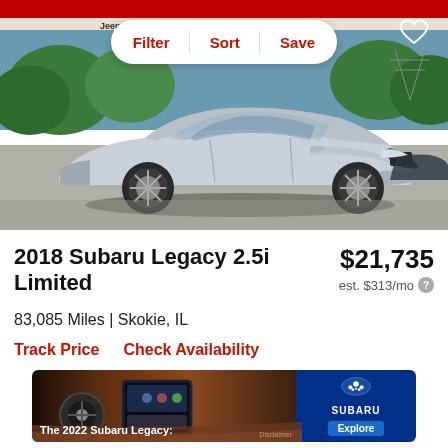[Figure (photo): Silver 2018 Subaru Legacy 2.5i Limited sedan parked at a dealership lot with dealer signage (Jeep, RAM) visible in background. Car is silver/light blue metallic color facing right.]
Filter | Sort | Save
2018 Subaru Legacy 2.5i Limited   $21,735
est. $313/mo
83,085 Miles | Skokie, IL
Track Price    Check Availability
[Figure (photo): Advertisement banner for the 2022 Subaru Legacy showing interior dashboard with tan/brown leather seats and large touchscreen. Text: 'The 2022 Subaru Legacy:' with Disclaimer link. Right side shows Subaru logo and Explore button on blue background.]